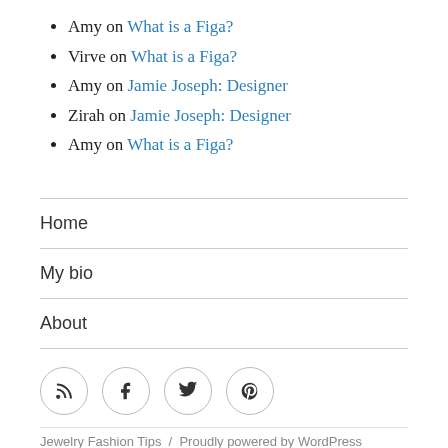Amy on What is a Figa?
Virve on What is a Figa?
Amy on Jamie Joseph: Designer
Zirah on Jamie Joseph: Designer
Amy on What is a Figa?
Home
My bio
About
[Figure (infographic): Four social media icon circles: RSS, Facebook, Twitter, Pinterest]
Jewelry Fashion Tips  /  Proudly powered by WordPress